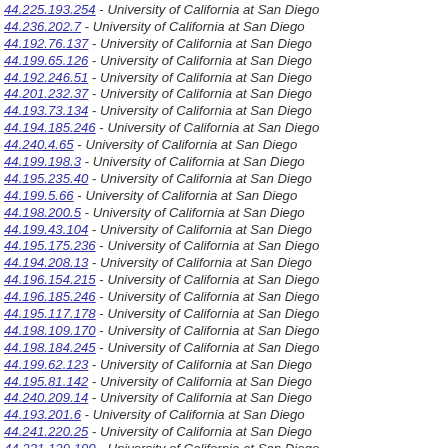44.225.193.254 - University of California at San Diego
44.236.202.7 - University of California at San Diego
44.192.76.137 - University of California at San Diego
44.199.65.126 - University of California at San Diego
44.192.246.51 - University of California at San Diego
44.201.232.37 - University of California at San Diego
44.193.73.134 - University of California at San Diego
44.194.185.246 - University of California at San Diego
44.240.4.65 - University of California at San Diego
44.199.198.3 - University of California at San Diego
44.195.235.40 - University of California at San Diego
44.199.5.66 - University of California at San Diego
44.198.200.5 - University of California at San Diego
44.199.43.104 - University of California at San Diego
44.195.175.236 - University of California at San Diego
44.194.208.13 - University of California at San Diego
44.196.154.215 - University of California at San Diego
44.196.185.246 - University of California at San Diego
44.195.117.178 - University of California at San Diego
44.198.109.170 - University of California at San Diego
44.198.184.245 - University of California at San Diego
44.199.62.123 - University of California at San Diego
44.195.81.142 - University of California at San Diego
44.240.209.14 - University of California at San Diego
44.193.201.6 - University of California at San Diego
44.241.220.25 - University of California at San Diego
44.231.129.190 - University of California at San Diego
44.192.125.186 - University of California at San Diego
44.238.143.204 - University of California at San Diego
44.238.61.122 - University of California at San Diego